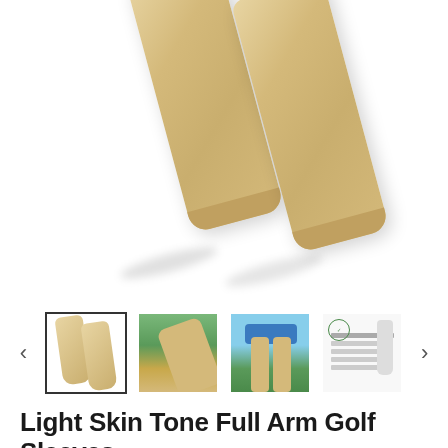[Figure (photo): Two light skin tone beige full arm golf sleeves displayed diagonally on white background]
[Figure (photo): Thumbnail image carousel showing: (1) active thumbnail of two beige arm sleeves with black border, (2) person wearing sleeve on arm outdoors, (3) golfer's legs wearing sleeves on grass, (4) size chart with logo and sleeve silhouette. Left and right navigation arrows on sides.]
Light Skin Tone Full Arm Golf Sleeves
$29.99